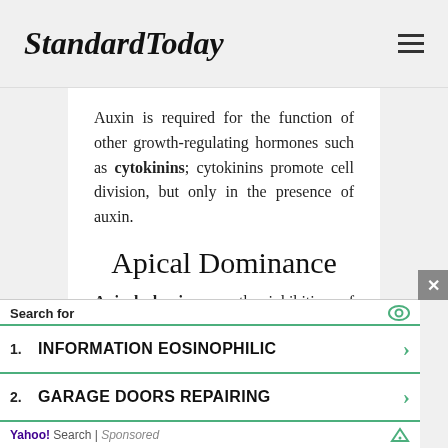StandardToday
Auxin is required for the function of other growth-regulating hormones such as cytokinins; cytokinins promote cell division, but only in the presence of auxin.
Apical Dominance
Apical dominance—the inhibition of axillary bud (lateral bud) formation—is triggered by downward transport of auxins produced in the apical meristem. Many
Search for
1. INFORMATION EOSINOPHILIC
2. GARAGE DOORS REPAIRING
Yahoo! Search | Sponsored